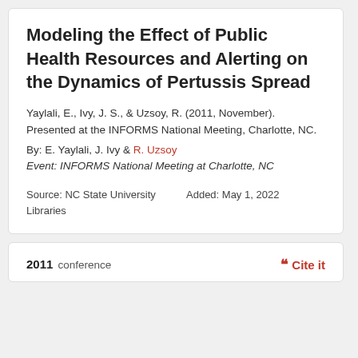Modeling the Effect of Public Health Resources and Alerting on the Dynamics of Pertussis Spread
Yaylali, E., Ivy, J. S., & Uzsoy, R. (2011, November). Presented at the INFORMS National Meeting, Charlotte, NC.
By: E. Yaylali, J. Ivy & R. Uzsoy
Event: INFORMS National Meeting at Charlotte, NC
Source: NC State University Libraries
Added: May 1, 2022
2011 conference
Cite it